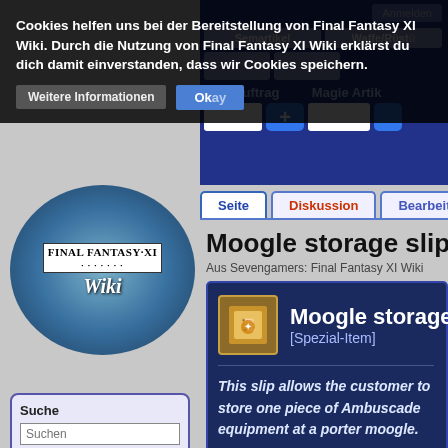Cookies helfen uns bei der Bereitstellung von Final Fantasy XI Wiki. Durch die Nutzung von Final Fantasy XI Wiki erklärst du dich damit einverstanden, dass wir Cookies speichern.
Weitere Informationen
Okay
[Figure (logo): Final Fantasy XI Wiki logo — circular image with FINAL FANTASY XI text and Wiki label]
Suche
Suchen
Seite
Suchen
Navigation
Hauptseite
Grundlagen
Vanadiel
Storyline
Jobsystem
Trainingssystem
Kampfszenarien
Gegenstände
RoE Auftrag
Magie Artik
Semartikel
Waffe/Rüst
Anmelden
Seite
Diskussion
Bearbeiten
Moogle storage slip 23
Aus Sevengamers: Final Fantasy XI Wiki
Moogle storage sli
[Spezial-Item]
This slip allows the customer to store one piece of Ambuscade equipment at a porter moogle.